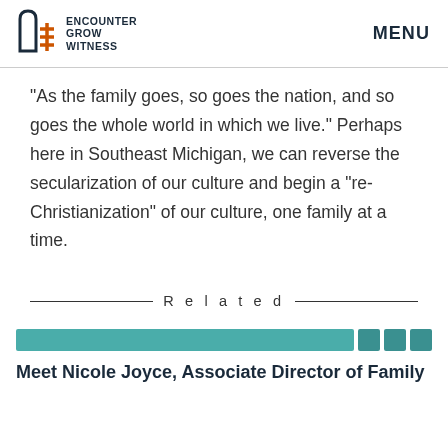ENCOUNTER GROW WITNESS | MENU
“As the family goes, so goes the nation, and so goes the whole world in which we live.” Perhaps here in Southeast Michigan, we can reverse the secularization of our culture and begin a “re-Christianization” of our culture, one family at a time.
Related
[Figure (other): Decorative teal colored bar with two smaller square tiles, serving as an article card header image.]
Meet Nicole Joyce, Associate Director of Family